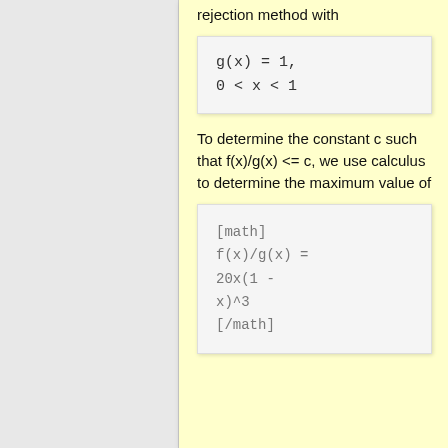rejection method with
To determine the constant c such that f(x)/g(x) <= c, we use calculus to determine the maximum value of